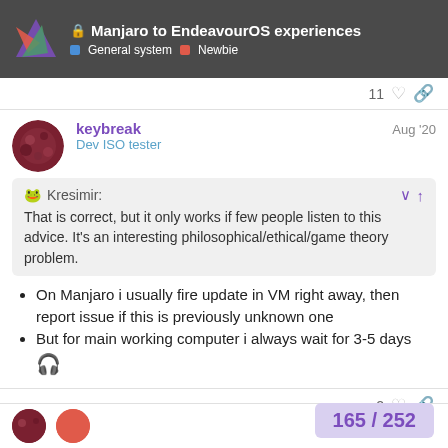🔒 Manjaro to EndeavourOS experiences — General system | Newbie
11 ♡ 🔗
keybreak — Dev ISO tester — Aug '20
🐸 Kresimir: That is correct, but it only works if few people listen to this advice. It's an interesting philosophical/ethical/game theory problem.
On Manjaro i usually fire update in VM right away, then report issue if this is previously unknown one
But for main working computer i always wait for 3-5 days 🎧
2 ♡ 🔗
165 / 252